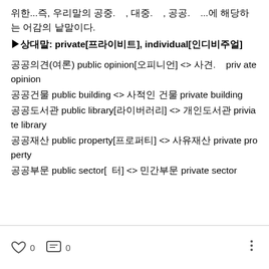위한...즉, 우리말의 공중.　　, 대중.　　, 공공.　　...에 해당하는 어감의 낱말이다.
▶상대말: private[프라이비트], individual[인디비주얼]
공공의견(여론) public opinion[오피니언] <> 사견.　　priv ate opinion
공공건물 public building <> 사적인 건물 private building
공공도서관 public library[라이버러리] <> 개인도서관 priviate library
공공재산 public property[프로퍼티] <> 사유재산 private property
공공부문 public sector[　터] <> 민간부문 private sector
0  0